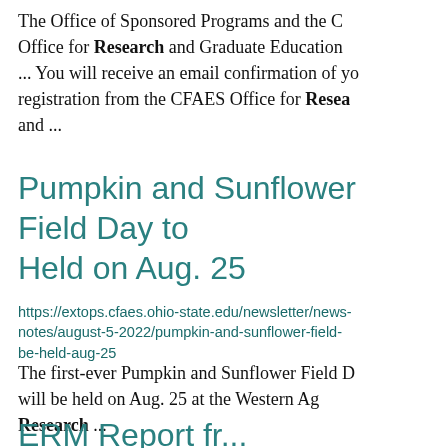The Office of Sponsored Programs and the Office for Research and Graduate Education ... You will receive an email confirmation of your registration from the CFAES Office for Research and ...
Pumpkin and Sunflower Field Day to be Held on Aug. 25
https://extops.cfaes.ohio-state.edu/newsletter/news-notes/august-5-2022/pumpkin-and-sunflower-field-be-held-aug-25
The first-ever Pumpkin and Sunflower Field Day will be held on Aug. 25 at the Western Ag Research ...
ERM Report fr...